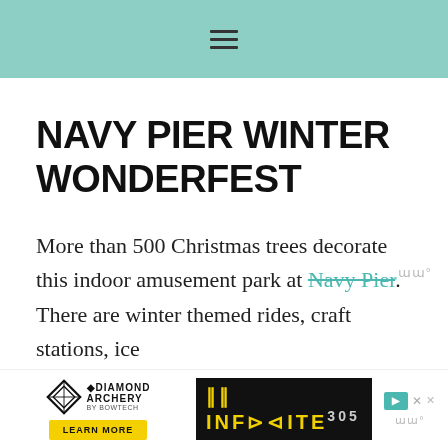≡
NAVY PIER WINTER WONDERFEST
More than 500 Christmas trees decorate this indoor amusement park at Navy Pier. There are winter themed rides, craft stations, ice skating, mini golf, and...
[Figure (other): Diamond Archery advertisement banner with logo, Learn More button, and Infinite 305 branding. Ad controls (play, close) visible on right side.]